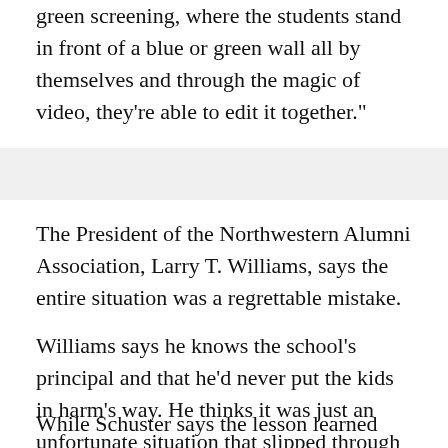green screening, where the students stand in front of a blue or green wall all by themselves and through the magic of video, they're able to edit it together."
The President of the Northwestern Alumni Association, Larry T. Williams, says the entire situation was a regrettable mistake.
Williams says he knows the school's principal and that he'd never put the kids in harm's way. He thinks it was just an unfortunate situation that slipped through the cracks of the schools system.
While Schuster says the lesson learned from all of this is that school level officials should better